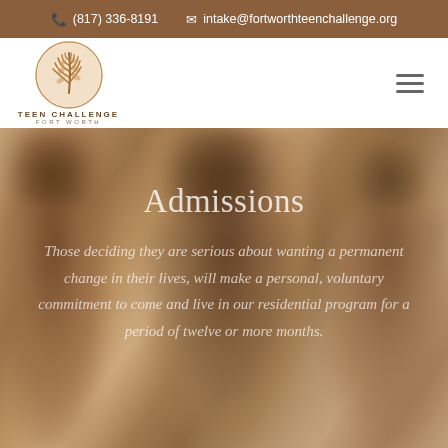📞 (817) 336-8191   ✉ intake@fortworthteenchallenge.org
[Figure (logo): Teen Challenge Fort Worth logo: circular orange/brown leaf/fern emblem above text reading TEEN CHALLENGE / FORT WORTH]
Admissions
Those deciding they are serious about wanting a permanent change in their lives, will make a personal, voluntary commitment to come and live in our residential program for a period of twelve or more months.